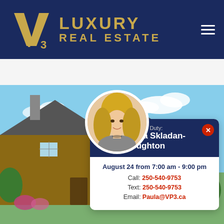[Figure (logo): VP3 Luxury Real Estate logo with golden VP3 emblem and text on dark navy background, with hamburger menu icon]
[Figure (photo): Real estate website screenshot showing a luxury log home exterior with blue sky, agent on duty popup card featuring Paula Skladan-Roughton]
Agent On Duty:
Paula Skladan-Roughton
August 24 from 7:00 am - 9:00 pm
Call: 250-540-9753
Text: 250-540-9753
Email: Paula@VP3.ca